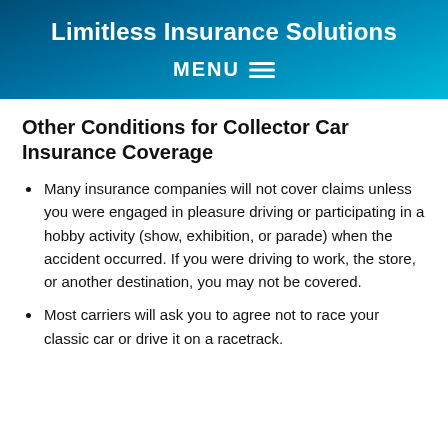Limitless Insurance Solutions
MENU
Other Conditions for Collector Car Insurance Coverage
Many insurance companies will not cover claims unless you were engaged in pleasure driving or participating in a hobby activity (show, exhibition, or parade) when the accident occurred. If you were driving to work, the store, or another destination, you may not be covered.
Most carriers will ask you to agree not to race your classic car or drive it on a racetrack.